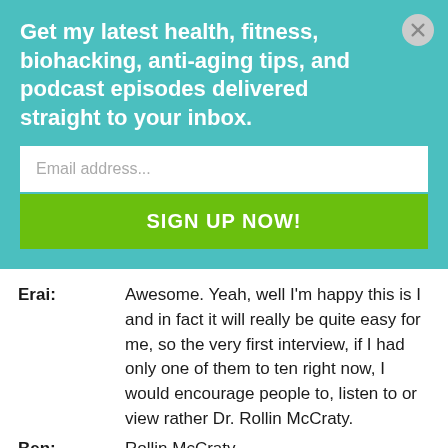Get my latest health, fitness, biohacking, anti-aging tips, and podcast episodes delivered straight to your inbox.
Email address...
SIGN UP NOW!
Erai: Awesome. Yeah, well I'm happy this is I and in fact it will really be quite easy for me, so the very first interview, if I had only one of them to ten right now, I would encourage people to, listen to or view rather Dr. Rollin McCraty.
Ben: Rollin McCraty.
Erai: Yeah, Rollin McCraty.
Ben: What does he talked about?